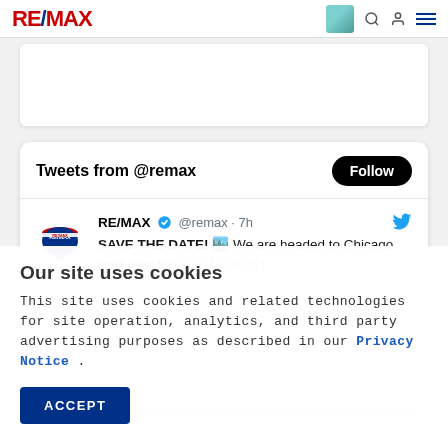RE/MAX
[Figure (screenshot): Tweet card showing RE/MAX Twitter feed with tweet: SAVE THE DATE! We are headed to Chicago next year for #REMAXBOC!]
Tweets from @remax
RE/MAX @remax · 7h
SAVE THE DATE! 🏙 We are headed to Chicago next year for #REMAXBOC!
Our site uses cookies
This site uses cookies and related technologies for site operation, analytics, and third party advertising purposes as described in our Privacy Notice .
ACCEPT